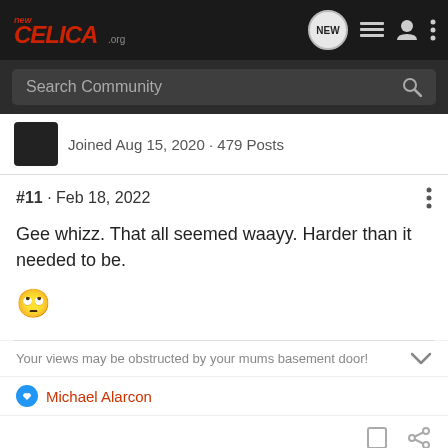newCELICA.org
Search Community
Joined Aug 15, 2020 · 479 Posts
#11 · Feb 18, 2022
Gee whizz. That all seemed waayy. Harder than it needed to be.
🙄
Your views may be obstructed by your mums basement door!
Michael Alarcon